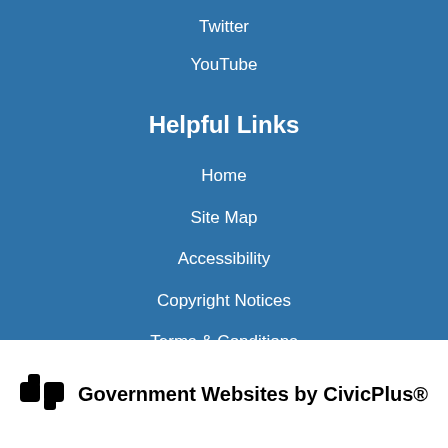Twitter
YouTube
Helpful Links
Home
Site Map
Accessibility
Copyright Notices
Terms & Conditions
Government Websites by CivicPlus®